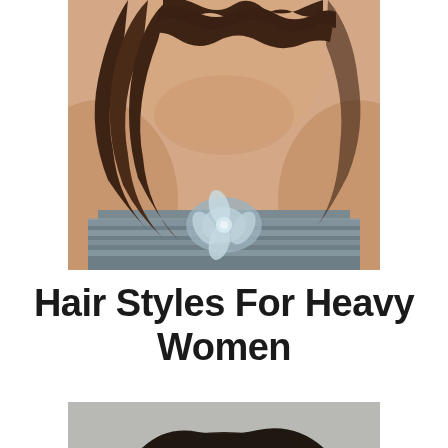[Figure (photo): Close-up photo of a woman from the shoulders up, wearing a strapless silver/grey sequined and beaded gown with a large floral embellishment at the center chest. She has long wavy dark brown hair falling over one shoulder. Her skin is fair and the background is neutral.]
Hair Styles For Heavy Women
[Figure (photo): Close-up photo of a woman's dark brown hair styled in a layered, slightly tousled short-to-medium cut with highlights. The background is a light grey. A watermark reading 'ANDERS BY CUTYOURH...' is visible in the upper right corner.]